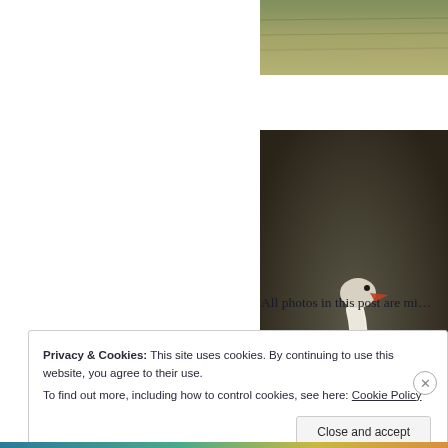[Figure (photo): Partial view of water surface with reflections, golden/greenish tones, cropped top portion of image]
[Figure (photo): White mute swan swimming on dark water, photographed straight-on showing its neck raised and body prominent, sunlit from the side]
All photos in this post are mi…
Privacy & Cookies: This site uses cookies. By continuing to use this website, you agree to their use.
To find out more, including how to control cookies, see here: Cookie Policy
Close and accept